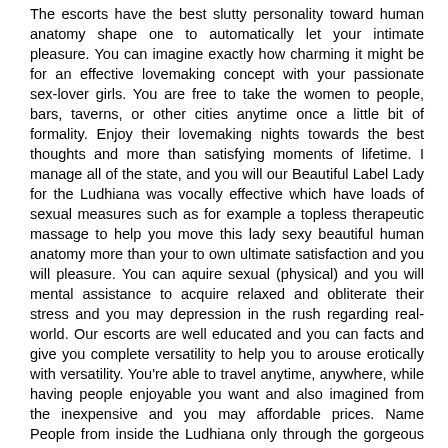The escorts have the best slutty personality toward human anatomy shape one to automatically let your intimate pleasure. You can imagine exactly how charming it might be for an effective lovemaking concept with your passionate sex-lover girls. You are free to take the women to people, bars, taverns, or other cities anytime once a little bit of formality. Enjoy their lovemaking nights towards the best thoughts and more than satisfying moments of lifetime. I manage all of the state, and you will our Beautiful Label Lady for the Ludhiana was vocally effective which have loads of sexual measures such as for example a topless therapeutic massage to help you move this lady sexy beautiful human anatomy more than your to own ultimate satisfaction and you will pleasure. You can aquire sexual (physical) and you will mental assistance to acquire relaxed and obliterate their stress and you may depression in the rush regarding real-world. Our escorts are well educated and you can facts and give you complete versatility to help you to arouse erotically with versatility. You're able to travel anytime, anywhere, while having people enjoyable you want and also imagined from the inexpensive and you may affordable prices. Name People from inside the Ludhiana only through the gorgeous lady exactly who like hanging out and you will lovemaking having actual boys meet up with their sexual and you will emotional requires.
Incall and you may Outcall Properties by the Ludhiana Escorts Solution
In the same context, our industry agencies regarding Ludhiana Escorts Sservice are uniformly concerned with this new secrecy and you will privacy of such mesmerizing times, very our starving wolves is plunge on water away from beauty with no fret and